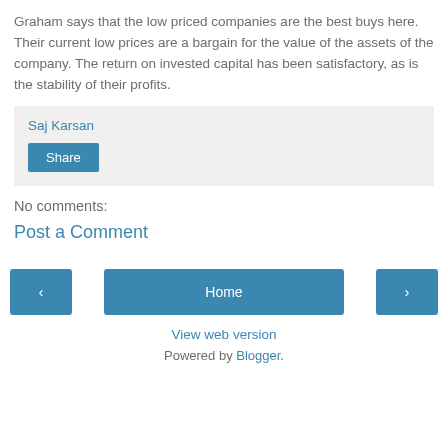Graham says that the low priced companies are the best buys here. Their current low prices are a bargain for the value of the assets of the company. The return on invested capital has been satisfactory, as is the stability of their profits.
Saj Karsan
Share
No comments:
Post a Comment
‹
Home
›
View web version
Powered by Blogger.